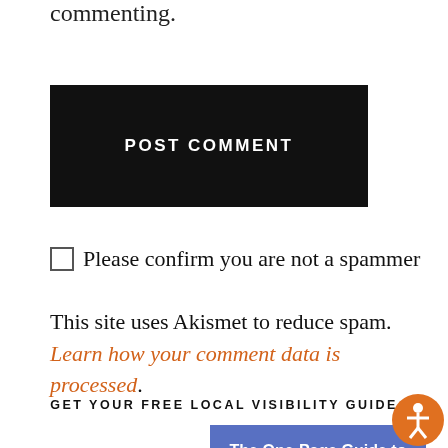commenting.
POST COMMENT
Please confirm you are not a spammer
This site uses Akismet to reduce spam. Learn how your comment data is processed.
GET YOUR FREE LOCAL VISIBILITY GUIDE
[Figure (illustration): Book cover for 'The One-Page Guide to Effective Local SEO - How to Get More Visible to Customers in the Local Search Results, 3rd Edition' on a blue/purple background]